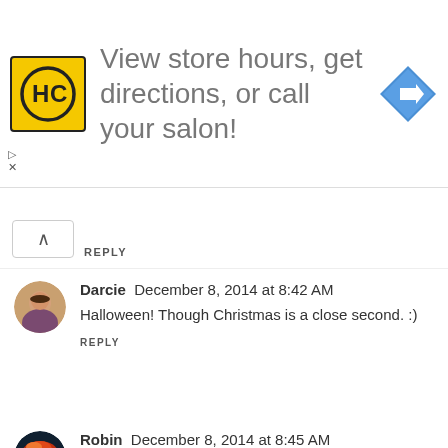[Figure (infographic): Advertisement banner: HC salon logo (yellow square with HC initials), text 'View store hours, get directions, or call your salon!', blue diamond navigation arrow icon on right. Close/skip buttons at bottom left.]
REPLY
Darcie  December 8, 2014 at 8:42 AM
Halloween! Though Christmas is a close second. :)
REPLY
Robin  December 8, 2014 at 8:45 AM
Thanksgiving!
REPLY
CurlyGirlMom  December 8, 2014 at 8:48 AM
Christmas is my favorite holiday, hands down! Easter is second